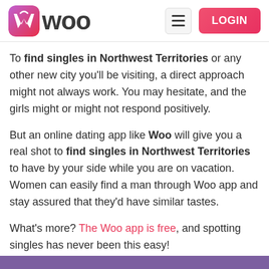Woo — navigation header with logo, hamburger menu, and LOGIN button
To find singles in Northwest Territories or any other new city you'll be visiting, a direct approach might not always work. You may hesitate, and the girls might or might not respond positively.
But an online dating app like Woo will give you a real shot to find singles in Northwest Territories to have by your side while you are on vacation. Women can easily find a man through Woo app and stay assured that they'd have similar tastes.
What's more? The Woo app is free, and spotting singles has never been this easy!